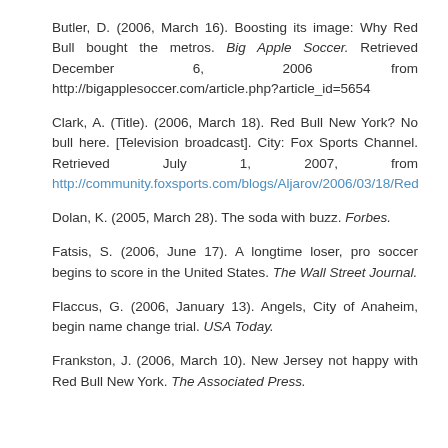Butler, D. (2006, March 16). Boosting its image: Why Red Bull bought the metros. Big Apple Soccer. Retrieved December 6, 2006 from http://bigapplesoccer.com/article.php?article_id=5654
Clark, A. (Title). (2006, March 18). Red Bull New York? No bull here. [Television broadcast]. City: Fox Sports Channel. Retrieved July 1, 2007, from http://community.foxsports.com/blogs/Aljarov/2006/03/18/Red
Dolan, K. (2005, March 28). The soda with buzz. Forbes.
Fatsis, S. (2006, June 17). A longtime loser, pro soccer begins to score in the United States. The Wall Street Journal.
Flaccus, G. (2006, January 13). Angels, City of Anaheim, begin name change trial. USA Today.
Frankston, J. (2006, March 10). New Jersey not happy with Red Bull New York. The Associated Press.